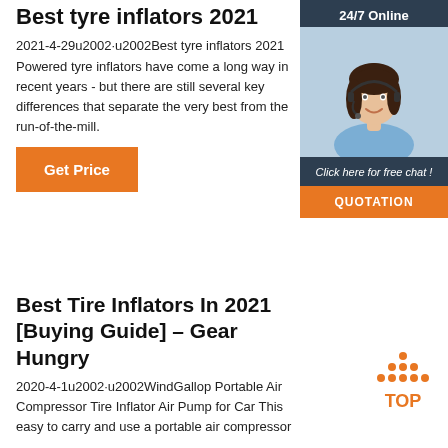Best tyre inflators 2021
2021-4-29u2002·u2002Best tyre inflators 2021 Powered tyre inflators have come a long way in recent years - but there are still several key differences that separate the very best from the run-of-the-mill.
[Figure (illustration): Orange 'Get Price' button]
[Figure (photo): 24/7 Online chat widget with photo of woman wearing headset, 'Click here for free chat!' text, and orange QUOTATION button]
Best Tire Inflators In 2021 [Buying Guide] – Gear Hungry
2020-4-1u2002·u2002WindGallop Portable Air Compressor Tire Inflator Air Pump for Car This easy to carry and use a portable air compressor
[Figure (logo): Orange TOP badge/logo with dots and triangle above text TOP]